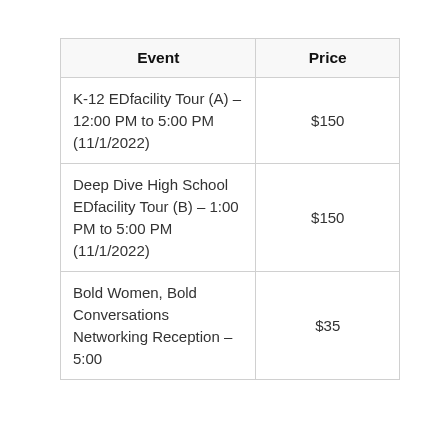| Event | Price |
| --- | --- |
| K-12 EDfacility Tour (A) – 12:00 PM to 5:00 PM (11/1/2022) | $150 |
| Deep Dive High School EDfacility Tour (B) – 1:00 PM to 5:00 PM (11/1/2022) | $150 |
| Bold Women, Bold Conversations Networking Reception – 5:00 | $35 |